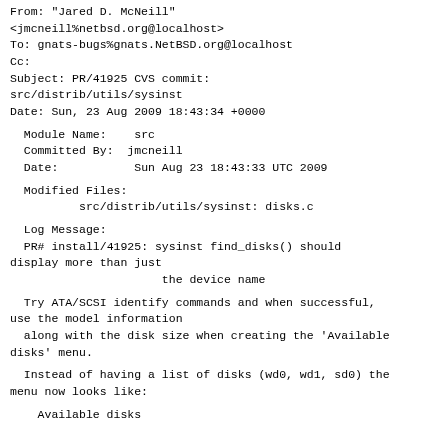From: "Jared D. McNeill"
<jmcneill%netbsd.org@localhost>
To: gnats-bugs%gnats.NetBSD.org@localhost
Cc:
Subject: PR/41925 CVS commit:
src/distrib/utils/sysinst
Date: Sun, 23 Aug 2009 18:43:34 +0000
Module Name:    src
  Committed By:  jmcneill
  Date:           Sun Aug 23 18:43:33 UTC 2009
Modified Files:
          src/distrib/utils/sysinst: disks.c
Log Message:
  PR# install/41925: sysinst find_disks() should display more than just
                      the device name
Try ATA/SCSI identify commands and when successful,
use the model information
  along with the disk size when creating the 'Available
disks' menu.
Instead of having a list of disks (wd0, wd1, sd0) the
menu now looks like:
Available disks